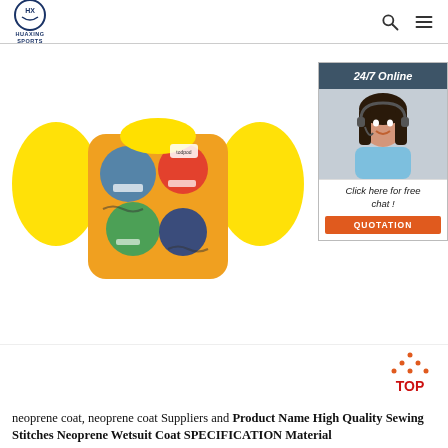HUAXING SPORTS
[Figure (photo): Children's life jacket / swim vest with yellow foam arm floaties and colorful monster print fabric body, shown on white background]
[Figure (photo): Customer service agent: woman with headset smiling, used in 24/7 online chat widget]
[Figure (infographic): TOP scroll-to-top button icon with orange triangular arrow made of dots and bold red TOP text]
neoprene coat, neoprene coat Suppliers and Product Name High Quality Sewing Stitches Neoprene Wetsuit Coat SPECIFICATION Material